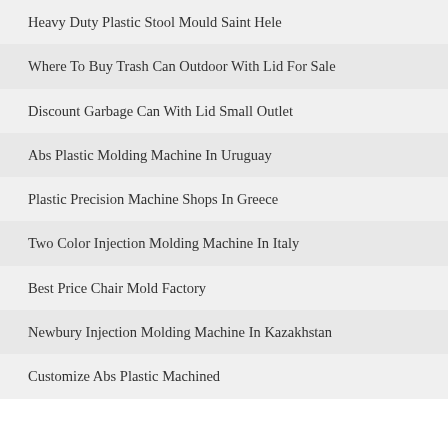Heavy Duty Plastic Stool Mould Saint Hele
Where To Buy Trash Can Outdoor With Lid For Sale
Discount Garbage Can With Lid Small Outlet
Abs Plastic Molding Machine In Uruguay
Plastic Precision Machine Shops In Greece
Two Color Injection Molding Machine In Italy
Best Price Chair Mold Factory
Newbury Injection Molding Machine In Kazakhstan
Customize Abs Plastic Machined